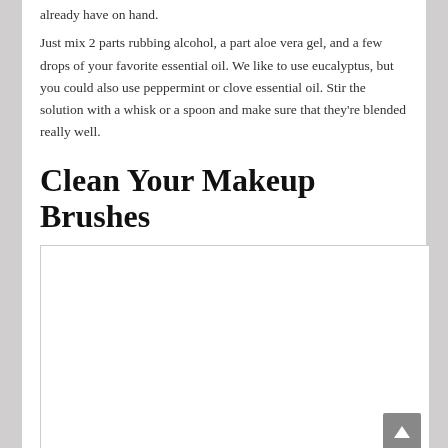already have on hand.
Just mix 2 parts rubbing alcohol, a part aloe vera gel, and a few drops of your favorite essential oil. We like to use eucalyptus, but you could also use peppermint or clove essential oil. Stir the solution with a whisk or a spoon and make sure that they're blended really well.
Clean Your Makeup Brushes
[Figure (other): Embedded video placeholder box with a scroll-to-top button in the bottom right corner]
YouTube